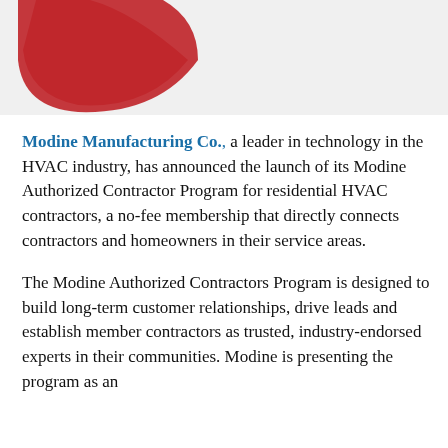[Figure (logo): Partial red logo (arc/swoosh shape) in upper left on grey background]
Modine Manufacturing Co., a leader in technology in the HVAC industry, has announced the launch of its Modine Authorized Contractor Program for residential HVAC contractors, a no-fee membership that directly connects contractors and homeowners in their service areas.
The Modine Authorized Contractors Program is designed to build long-term customer relationships, drive leads and establish member contractors as trusted, industry-endorsed experts in their communities. Modine is presenting the program as an